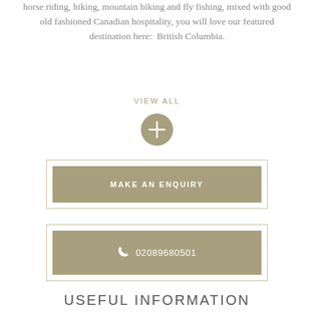horse riding, hiking, mountain biking and fly fishing, mixed with good old fashioned Canadian hospitality, you will love our featured destination here:  British Columbia.
VIEW ALL
[Figure (other): A circular button with a plus (+) symbol in the center, filled with a khaki/tan color]
MAKE AN ENQUIRY
02089680501
USEFUL INFORMATION